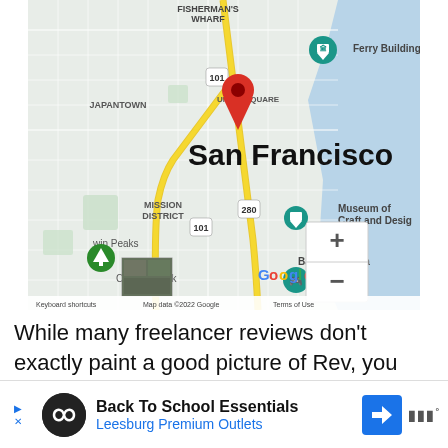[Figure (map): Google Maps screenshot showing San Francisco with a red location pin over Union Square area. Map shows Fisherman's Wharf, Ferry Building, Japantown, Mission District, Twin Peaks, Museum of Craft and Design, Bayview Opera, Google logo, zoom controls (+/-), and map attribution: Keyboard shortcuts, Map data ©2022 Google, Terms of Use.]
While many freelancer reviews don't exactly paint a good picture of Rev, you can be confident
Back To School Essentials
Leesburg Premium Outlets